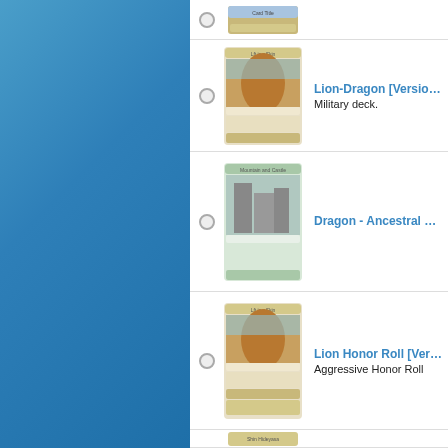[Figure (screenshot): Website listing of collectible card game decks with card images, radio buttons, card titles in blue, and descriptions. Left panel is blue gradient background. Items shown: partial card at top, Lion-Dragon [Version...] with Military deck., Dragon - Ancestral Li..., Lion Honor Roll [Vers...] with Aggressive Honor Roll, and partial card at bottom.]
Lion-Dragon [Version...] — Military deck.
Dragon - Ancestral Li...
Lion Honor Roll [Vers...] — Aggressive Honor Roll